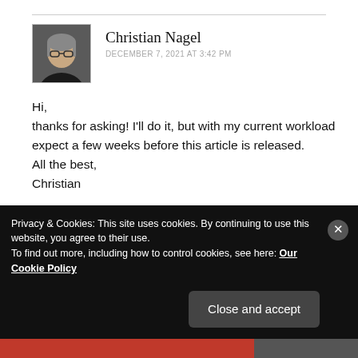[Figure (photo): Avatar photo of Christian Nagel, a person with glasses and medium-length hair, wearing a dark top]
Christian Nagel
DECEMBER 7, 2021 AT 3:42 PM
Hi,
thanks for asking! I'll do it, but with my current workload expect a few weeks before this article is released.
All the best,
Christian
★ Like
Privacy & Cookies: This site uses cookies. By continuing to use this website, you agree to their use.
To find out more, including how to control cookies, see here: Our Cookie Policy
Close and accept